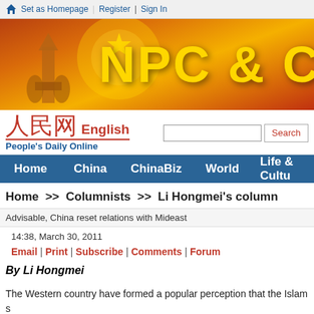Set as Homepage | Register | Sign In
[Figure (illustration): People's Daily Online / NPC & CPPCC banner with golden monument silhouette and large gold NPC & C text on orange-red gradient background]
[Figure (logo): People's Daily Online logo with Chinese characters 人民网 in red, 'English' in red, and 'People's Daily Online' in blue below]
Home | China | ChinaBiz | World | Life & Culture
Home >> Columnists >> Li Hongmei's column
Advisable, China reset relations with Mideast
14:38, March 30, 2011
Email | Print | Subscribe | Comments | Forum
By Li Hongmei
The Western country have formed a popular perception that the Islam s